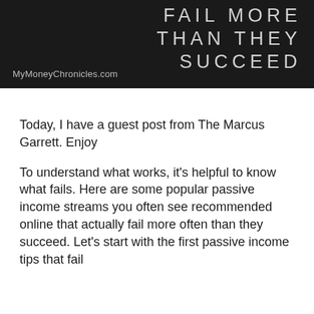[Figure (illustration): Dark banner image with large spaced white/light grey text reading 'FAIL MORE THAN THEY SUCCEED' right-aligned, and 'MyMoneyChronicles.com' in the bottom-left corner in lighter grey text on a near-black background.]
Today, I have a guest post from The Marcus Garrett. Enjoy
To understand what works, it's helpful to know what fails. Here are some popular passive income streams you often see recommended online that actually fail more often than they succeed. Let's start with the first passive income tips that fail